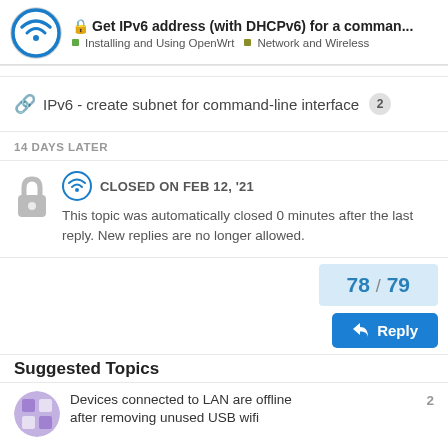Get IPv6 address (with DHCPv6) for a comman... | Installing and Using OpenWrt | Network and Wireless
IPv6 - create subnet for command-line interface 2
14 DAYS LATER
CLOSED ON FEB 12, '21 — This topic was automatically closed 0 minutes after the last reply. New replies are no longer allowed.
78 / 79
Reply
Suggested Topics
Devices connected to LAN are offline after removing unused USB wifi